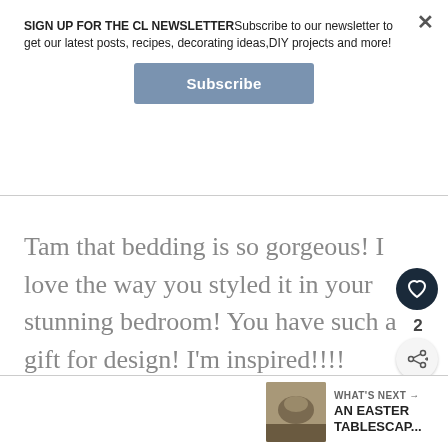SIGN UP FOR THE CL NEWSLETTERSubscribe to our newsletter to get our latest posts, recipes, decorating ideas,DIY projects and more!
Subscribe
Tam that bedding is so gorgeous! I love the way you styled it in your stunning bedroom! You have such a gift for design! I'm inspired!!!!
2
WHAT'S NEXT → AN EASTER TABLESCAP...